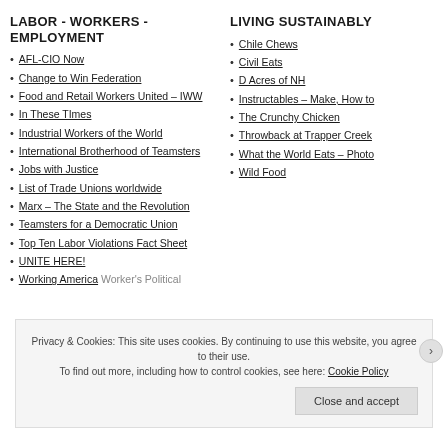LABOR - WORKERS -EMPLOYMENT
AFL-CIO Now
Change to Win Federation
Food and Retail Workers United – IWW
In These TImes
Industrial Workers of the World
International Brotherhood of Teamsters
Jobs with Justice
List of Trade Unions worldwide
Marx – The State and the Revolution
Teamsters for a Democratic Union
Top Ten Labor Violations Fact Sheet
UNITE HERE!
Working America Worker's Political
LIVING SUSTAINABLY
Chile Chews
Civil Eats
D Acres of NH
Instructables – Make, How to
The Crunchy Chicken
Throwback at Trapper Creek
What the World Eats – Photo
Wild Food
Privacy & Cookies: This site uses cookies. By continuing to use this website, you agree to their use. To find out more, including how to control cookies, see here: Cookie Policy
Close and accept